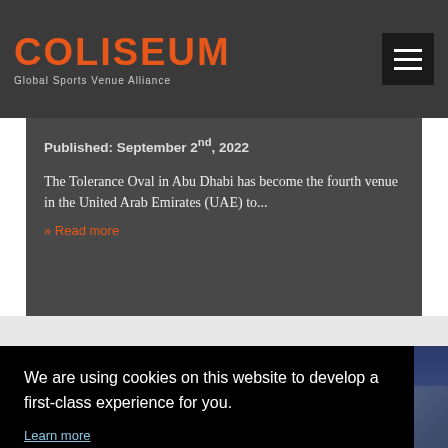COLISEUM — Global Sports Venue Alliance
Published: September 2nd, 2022
The Tolerance Oval in Abu Dhabi has become the fourth venue in the United Arab Emirates (UAE) to...
» Read more
We are using cookies on this website to develop a first-class experience for you.
Learn more
Ok
[Figure (photo): Two city night photos at bottom of page]
[Figure (screenshot): Right side partial city image strip]